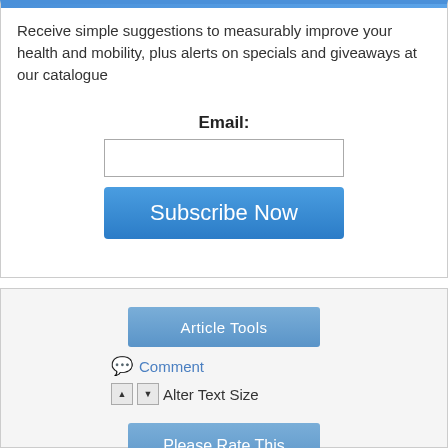Receive simple suggestions to measurably improve your health and mobility, plus alerts on specials and giveaways at our catalogue
Email:
[Figure (screenshot): Email input text field, empty, with grey border]
[Figure (screenshot): Subscribe Now button, blue gradient background, white text]
[Figure (screenshot): Article Tools button, blue-grey gradient, white text]
Comment
Alter Text Size
[Figure (screenshot): Please Rate This button, blue-grey gradient, white text]
[Figure (screenshot): Four gold/yellow stars rating display]